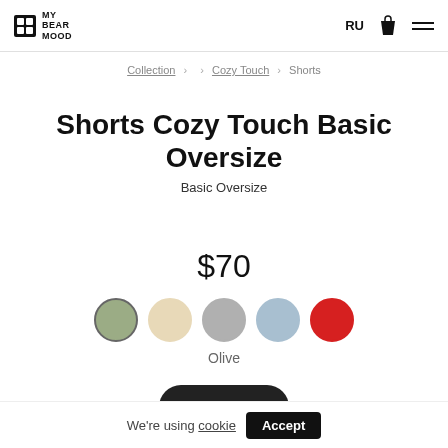MY BEAR MOOD | RU
Collection > Cozy Touch > Shorts
Shorts Cozy Touch Basic Oversize
Basic Oversize
$70
[Figure (other): Five color swatches: olive (selected, with border), cream, grey, light blue, red]
Olive
BUY (button, partially visible)
We're using cookie Accept